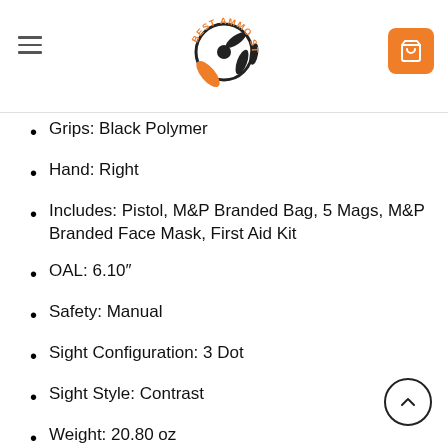Best Ammo Store
Grips: Black Polymer
Hand: Right
Includes: Pistol, M&P Branded Bag, 5 Mags, M&P Branded Face Mask, First Aid Kit
OAL: 6.10"
Safety: Manual
Sight Configuration: 3 Dot
Sight Style: Contrast
Weight: 20.80 oz
Barrel Description: Stainless Steel
Barrel Length: 3.10"